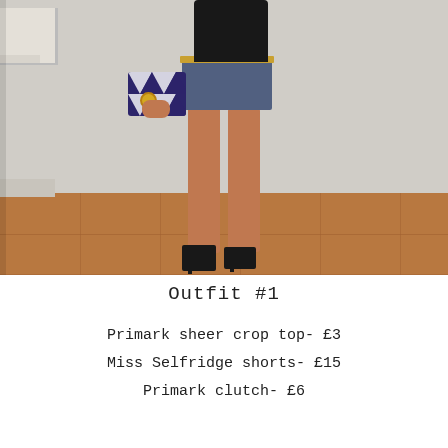[Figure (photo): Full-length photo of a person wearing a black sheer crop top, denim shorts with a gold belt, holding a patterned clutch bag, with a gold watch, standing on tiled floor against a light wall, wearing black strappy heeled sandals.]
Outfit #1
Primark sheer crop top- £3
Miss Selfridge shorts- £15
Primark clutch- £6